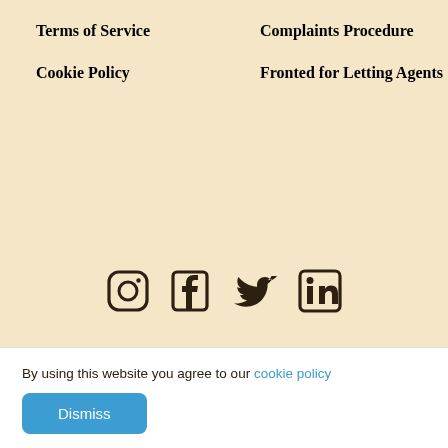Terms of Service
Cookie Policy
Complaints Procedure
Fronted for Letting Agents
[Figure (illustration): Four social media icons: Instagram, Facebook, Twitter, LinkedIn]
Fronted is a trading name of Fronted Holding Ltd. We are registered in England and Wales (Company No.12278750), registered office address is Studio 403, 203-213 Mare Street, London, E8 3LY. Fronted Loans Ltd (Company No.12307305) is authorised and regulated by the Financial Conduct Authority under a Consumer Credit Licence (FCA
By using this website you agree to our cookie policy
Dismiss